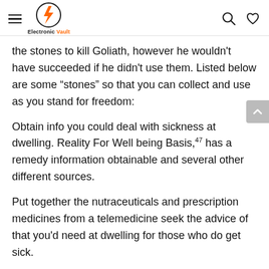Electronic Vault
the stones to kill Goliath, however he wouldn't have succeeded if he didn't use them. Listed below are some “stones” so that you can collect and use as you stand for freedom:
Obtain info you could deal with sickness at dwelling. Reality For Well being Basis,47 has a remedy information obtainable and several other different sources.
Put together the nutraceuticals and prescription medicines from a telemedicine seek the advice of that you’d need at dwelling for those who do get sick.